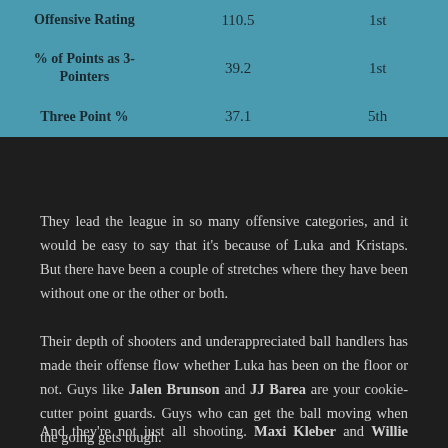|  |  |  |
| --- | --- | --- |
| Offensive Rating | 110.5 | 1st |
| % of Points as 3-Pointers | 39.2 | 1st |
| Three Point % | 37.1 | 5th |
They lead the league in so many offensive categories, and it would be easy to say that it's because of Luka and Kristaps. But there have been a couple of stretches where they have been without one or the other or both.
Their depth of shooters and underappreciated ball handlers has made their offense flow whether Luka has been on the floor or not. Guys like Jalen Brunson and JJ Barea are your cookie-cutter point guards. Guys who can get the ball moving when the going gets tough.
And they're not just all shooting. Maxi Kleber and Willie Cauley-Stein give them the size they need to give their potent offense